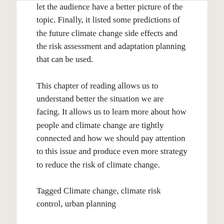let the audience have a better picture of the topic. Finally, it listed some predictions of the future climate change side effects and the risk assessment and adaptation planning that can be used.
This chapter of reading allows us to understand better the situation we are facing. It allows us to learn more about how people and climate change are tightly connected and how we should pay attention to this issue and produce even more strategy to reduce the risk of climate change.
Tagged Climate change, climate risk control, urban planning
SUSTAINABLE SYSTEM: SELECTED COMMUNITY.
INT. STUDIO& SEMINAR THREE SYSTEMS